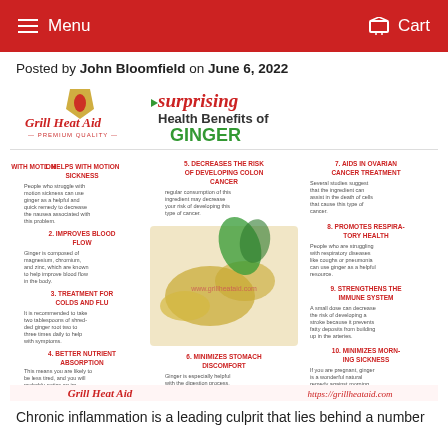Menu  Cart
Posted by John Bloomfield on June 6, 2022
[Figure (infographic): Infographic titled '10 Surprising Health Benefits of Ginger' with Grill Heat Aid branding. Lists: 1. Helps with Motion Sickness, 2. Improves Blood Flow, 3. Treatment for Colds and Flu, 4. Better Nutrient Absorption, 5. Decreases the Risk of Developing Colon Cancer, 6. Minimizes Stomach Discomfort, 7. Aids in Ovarian Cancer Treatment, 8. Promotes Respiratory Health, 9. Strengthens the Immune System, 10. Minimizes Morning Sickness. Center shows photo of ginger root. Bottom shows Grill Heat Aid logo and https://grillheataid.com]
Chronic inflammation is a leading culprit that lies behind a number